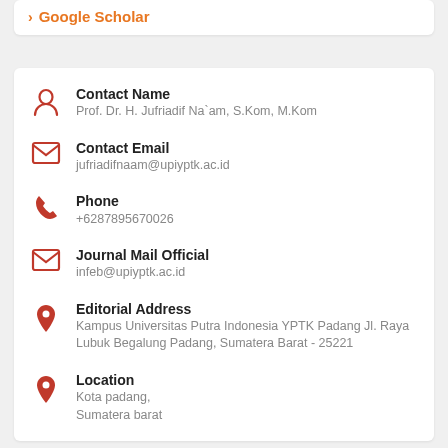Google Scholar
Contact Name
Prof. Dr. H. Jufriadif Na`am, S.Kom, M.Kom
Contact Email
jufriadifnaam@upiyptk.ac.id
Phone
+6287895670026
Journal Mail Official
infeb@upiyptk.ac.id
Editorial Address
Kampus Universitas Putra Indonesia YPTK Padang Jl. Raya Lubuk Begalung Padang, Sumatera Barat - 25221
Location
Kota padang,
Sumatera barat